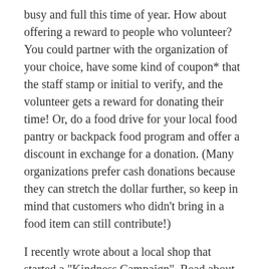busy and full this time of year. How about offering a reward to people who volunteer? You could partner with the organization of your choice, have some kind of coupon* that the staff stamp or initial to verify, and the volunteer gets a reward for donating their time! Or, do a food drive for your local food pantry or backpack food program and offer a discount in exchange for a donation. (Many organizations prefer cash donations because they can stretch the dollar further, so keep in mind that customers who didn't bring in a food item can still contribute!)
I recently wrote about a local shop that started a "Kindness Campaign". Read about that here, then think about how you can do something like it to bring sunshine to your community during the grey months!
Celebrate the cold and snow!